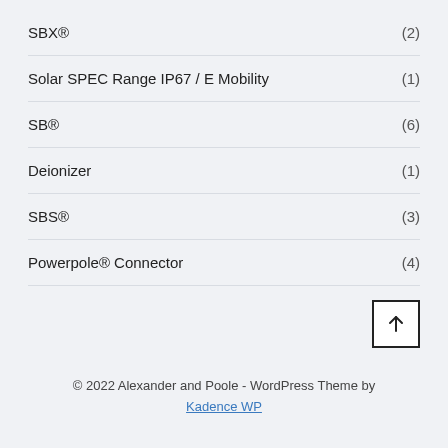SBX® (2)
Solar SPEC Range IP67 / E Mobility (1)
SB® (6)
Deionizer (1)
SBS® (3)
Powerpole® Connector (4)
© 2022 Alexander and Poole - WordPress Theme by Kadence WP